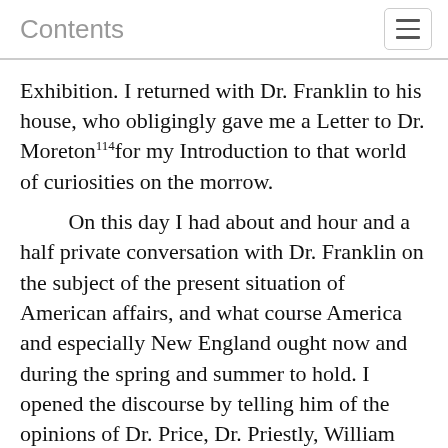Contents
Exhibition. I returned with Dr. Franklin to his house, who obligingly gave me a Letter to Dr. Moreton114 for my Introduction to that world of curiosities on the morrow.
On this day I had about and hour and a half private conversation with Dr. Franklin on the subject of the present situation of American affairs, and what course America and especially New England ought now and during the spring and summer to hold. I opened the discourse by telling him of the opinions of Dr. Price, Dr. Priestly, William Lee, Arthur Lee and others on those subjects.
(p266)
The Dr. utterly dissented from them all: he entered largely into the subject, and spoke the most substantial good sense and solid wisdom for near an hour. I wish I might with propriety enter his discourse: it would do lasting honor to his sagacity, judgment, morality and